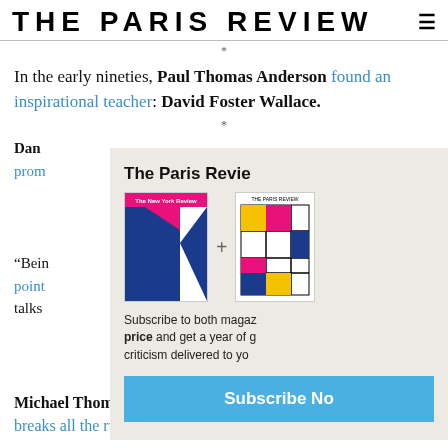THE PARIS REVIEW
In the early nineties, Paul Thomas Anderson found an inspirational teacher: David Foster Wallace.
Dan ... prom...
[Figure (illustration): Subscription modal overlay showing New York Review and The Paris Review magazine covers with a plus sign, subscribe button, and partial text about subscribing to both magazines at a special price.]
"Bei... point... talks...
Michael Thomson on The Evil Within, a horror video game that breaks all the rules.